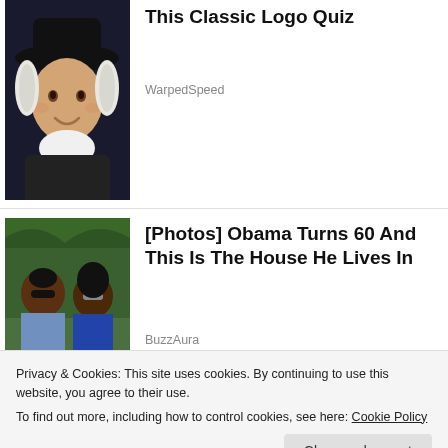[Figure (photo): Quaker Oats man mascot illustration - man in colonial hat and white collar, dark background]
This Classic Logo Quiz
WarpedSpeed
[Figure (photo): Barack Obama and Michelle Obama outdoors, both wearing sunglasses, green foliage background]
[Photos] Obama Turns 60 And This Is The House He Lives In
BuzzAura
[Figure (photo): Garden plants, green shoots emerging from dark soil]
Privacy & Cookies: This site uses cookies. By continuing to use this website, you agree to their use.
To find out more, including how to control cookies, see here: Cookie Policy
Close and accept